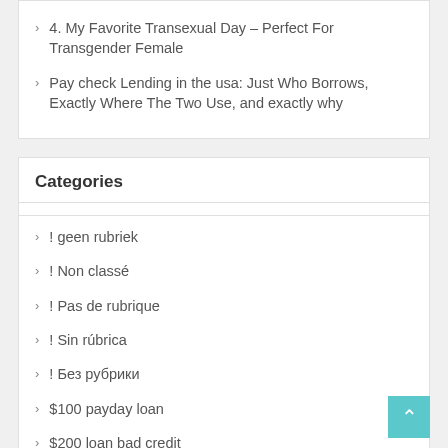4. My Favorite Transexual Day – Perfect For Transgender Female
Pay check Lending in the usa: Just Who Borrows, Exactly Where The Two Use, and exactly why
Categories
! geen rubriek
! Non classé
! Pas de rubrique
! Sin rúbrica
! Без рубрики
$100 payday loan
$200 loan bad credit
$255 payday loans
1